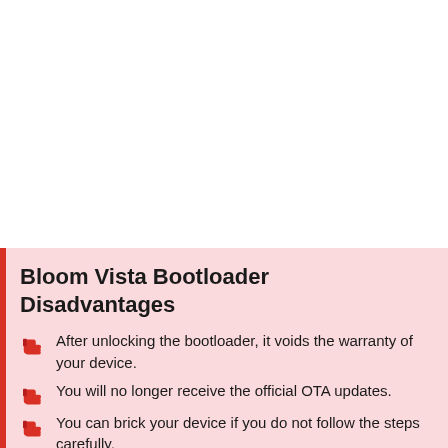Bloom Vista Bootloader Disadvantages
After unlocking the bootloader, it voids the warranty of your device.
You will no longer receive the official OTA updates.
You can brick your device if you do not follow the steps carefully.